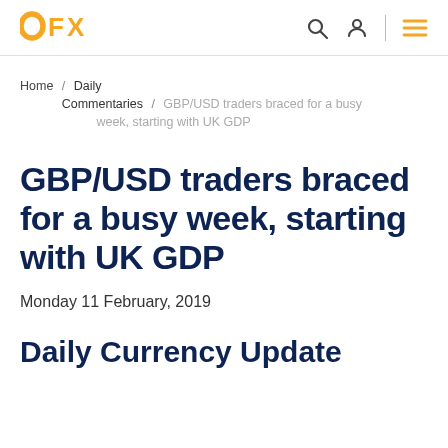OFX
Home / Daily Commentaries / GBP/USD traders braced for a busy week, starting with UK GDP
GBP/USD traders braced for a busy week, starting with UK GDP
Monday 11 February, 2019
Daily Currency Update